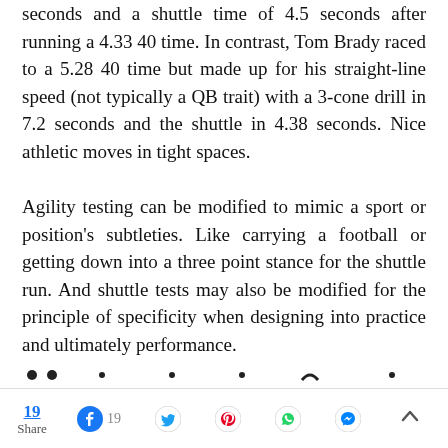seconds and a shuttle time of 4.5 seconds after running a 4.33 40 time. In contrast, Tom Brady raced to a 5.28 40 time but made up for his straight-line speed (not typically a QB trait) with a 3-cone drill in 7.2 seconds and the shuttle in 4.38 seconds. Nice athletic moves in tight spaces.
Agility testing can be modified to mimic a sport or position's subtleties. Like carrying a football or getting down into a three point stance for the shuttle run. And shuttle tests may also be modified for the principle of specificity when designing into practice and ultimately performance.
19 Share  [Facebook] 19  [Twitter]  [Pinterest]  [WhatsApp]  [Messenger]  ^